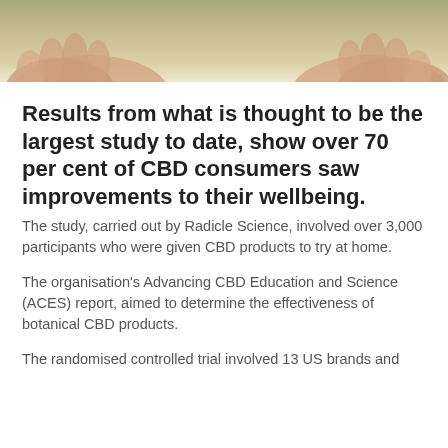[Figure (photo): Cropped photo of hands, possibly holding or touching something, with a warm beige/olive background]
Results from what is thought to be the largest study to date, show over 70 per cent of CBD consumers saw improvements to their wellbeing.
The study, carried out by Radicle Science, involved over 3,000 participants who were given CBD products to try at home.
The organisation's Advancing CBD Education and Science (ACES) report, aimed to determine the effectiveness of botanical CBD products.
The randomised controlled trial involved 13 US brands and